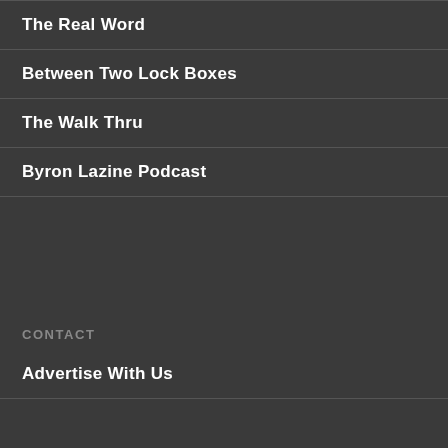The Real Word
Between Two Lock Boxes
The Walk Thru
Byron Lazine Podcast
CONTACT
Advertise With Us